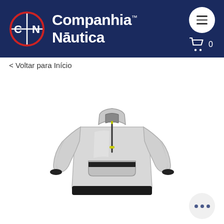Companhia Náutica
< Voltar para Início
[Figure (photo): Product photo of a light grey/white quarter-zip sailing jacket with black hem and yellow zipper pull, displayed without a model against a white background. The jacket has a front kangaroo-style pocket with a black horizontal stripe.]
...